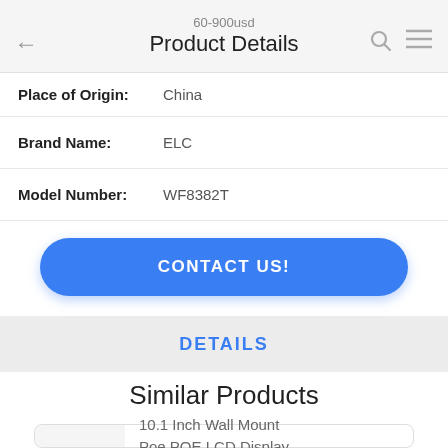60-900usd
Product Details
Place of Origin: China
Brand Name: ELC
Model Number: WF8382T
CONTACT US!
DETAILS
Similar Products
10.1 Inch Wall Mount Poe POE LCD Display